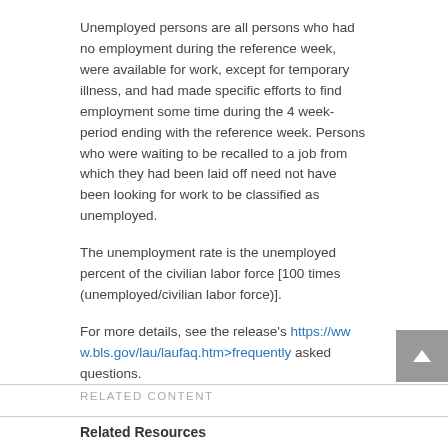Unemployed persons are all persons who had no employment during the reference week, were available for work, except for temporary illness, and had made specific efforts to find employment some time during the 4 week-period ending with the reference week. Persons who were waiting to be recalled to a job from which they had been laid off need not have been looking for work to be classified as unemployed.
The unemployment rate is the unemployed percent of the civilian labor force [100 times (unemployed/civilian labor force)].
For more details, see the release's https://www.bls.gov/lau/laufaq.htm>frequently asked questions.
RELATED CONTENT
Related Resources